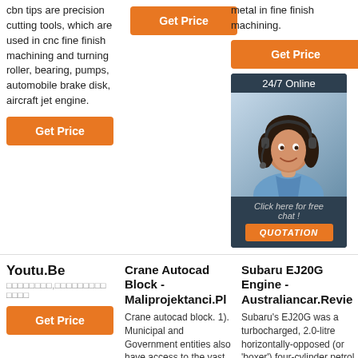cbn tips are precision cutting tools, which are used in cnc fine finish machining and turning roller, bearing, pumps, automobile brake disk, aircraft jet engine.
Get Price
metal in fine finish machining.
Get Price
[Figure (photo): 24/7 Online customer support chat box with a woman wearing headset, 'Click here for free chat!' and QUOTATION button]
Get Price
Youtu.Be
❑❑❑❑❑❑❑,❑❑❑❑❑❑❑❑❑❑❑❑❑
Get Price
Crane Autocad Block - Maliprojektanci.Pl
Crane autocad block. 1). Municipal and Government entities also have access to the vast array of
Subaru EJ20G Engine - Australiancar.Revie
Subaru's EJ20G was a turbocharged, 2.0-litre horizontally-opposed (or 'boxer') four-cylinder petrol